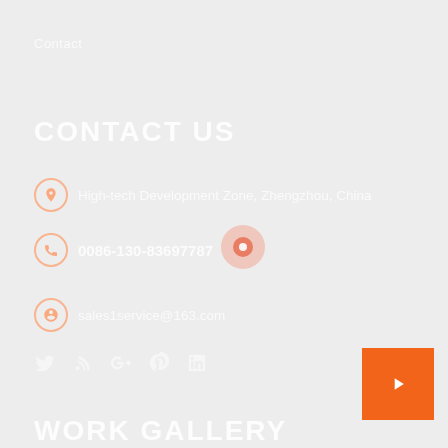Contact
CONTACT US
High-tech Development Zone, Zhengzhou, China
0086-130-83697787
sales1service@163.com
[Figure (infographic): Social media icons row: Twitter, RSS/Skype, Google+, Pinterest, LinkedIn]
WORK GALLERY
[Figure (infographic): Orange square button with right-arrow icon in bottom-right corner]